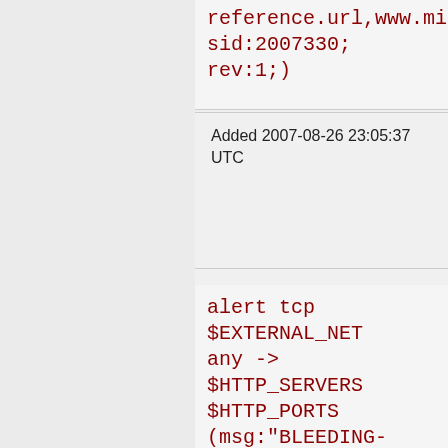reference.url,www.milworm... sid:2007330; rev:1;)
Added 2007-08-26 23:05:37 UTC
alert tcp $EXTERNAL_NET any -> $HTTP_SERVERS $HTTP_PORTS (msg:"BLEEDING-EDGE WEB Doug Luxem Liberum Help Desk SQL Injection Attempt -- details.asp id SELECT"; flow:established,to_server; uricontent:"/details.asp?"; nocase;